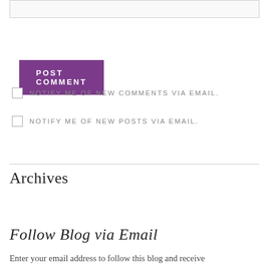[input text box]
POST COMMENT
NOTIFY ME OF NEW COMMENTS VIA EMAIL.
NOTIFY ME OF NEW POSTS VIA EMAIL.
Archives
Select Month
Follow Blog via Email
Enter your email address to follow this blog and receive